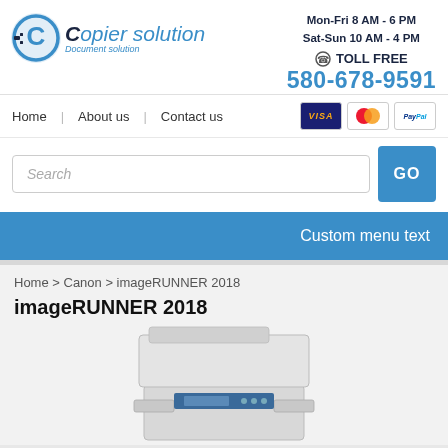[Figure (logo): Copier Solution logo with blue C icon and italic text 'copier solution Document solution']
Mon-Fri 8 AM - 6 PM
Sat-Sun 10 AM - 4 PM
TOLL FREE
580-678-9591
Home | About us | Contact us
[Figure (other): Visa, Mastercard, and PayPal payment icons]
Search
GO
Custom menu text
Home > Canon > imageRUNNER 2018
imageRUNNER 2018
[Figure (photo): Canon imageRUNNER 2018 multifunction copier/printer machine, grey and white color]